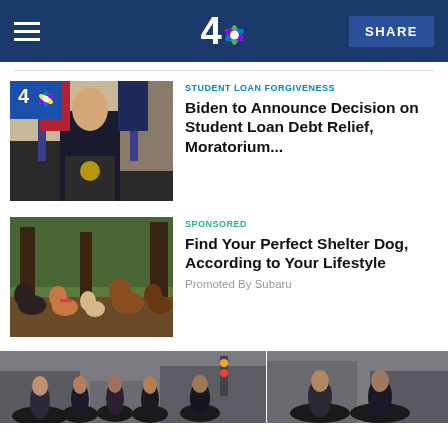NBC 4 | SHARE
[Figure (photo): President Biden speaking at a podium with US flags in background, NBC4 logo overlay]
STUDENT LOAN FORGIVENESS
Biden to Announce Decision on Student Loan Debt Relief, Moratorium...
[Figure (photo): Several dogs in a forest setting with trees in background]
SPONSORED
Find Your Perfect Shelter Dog, According to Your Lifestyle
Promoted By Subaru
[Figure (photo): Group of people on a city street, New York City]